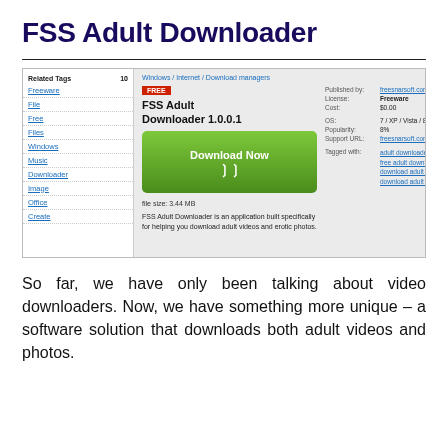FSS Adult Downloader
[Figure (screenshot): Screenshot of a software download page for FSS Adult Downloader 1.0.0.1, showing a left panel with related tags (Freeware, File, Free, Files, Windows, Music, Downloader, Image, Office, Create), and a main panel with Windows / Internet / Download managers breadcrumb, FREE badge, app title, Download Now button, file size 3.44 MB, app description, and metadata including Published by: freesnarsoft.com, License: Freeware, Cost: $0.00, OS: 7/XP/Vista/8, Popularity: 8%, Support URL and Tagged with links.]
So far, we have only been talking about video downloaders. Now, we have something more unique – a software solution that downloads both adult videos and photos.